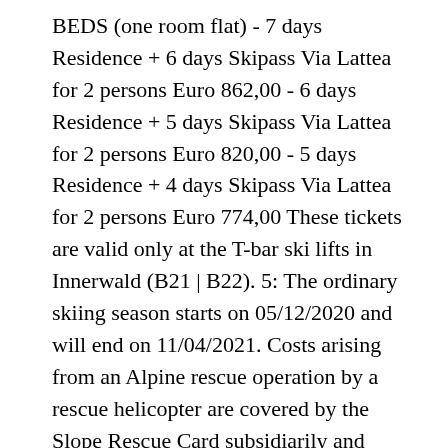BEDS (one room flat) - 7 days Residence + 6 days Skipass Via Lattea for 2 persons Euro 862,00 - 6 days Residence + 5 days Skipass Via Lattea for 2 persons Euro 820,00 - 5 days Residence + 4 days Skipass Via Lattea for 2 persons Euro 774,00 These tickets are valid only at the T-bar ski lifts in Innerwald (B21 | B22). 5: The ordinary skiing season starts on 05/12/2020 and will end on 11/04/2021. Costs arising from an Alpine rescue operation by a rescue helicopter are covered by the Slope Rescue Card subsidiarily and only in case if the rescued person has no other valid rescue insurance which refunds the slope rescue costs (subsidiarity principle). Oferta sicilia in Continua SKI 2020 – 2021 Italia Continua